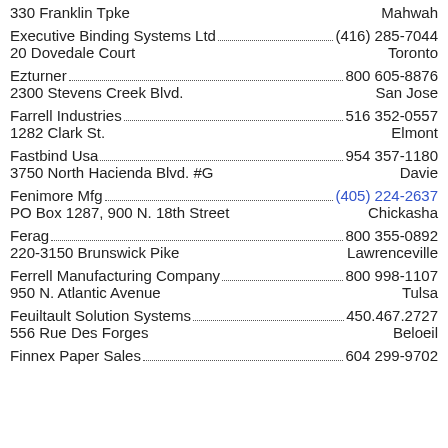330 Franklin Tpke ... Mahwah
Executive Binding Systems Ltd ... (416) 285-7044 / 20 Dovedale Court ... Toronto
Ezturner ... 800 605-8876 / 2300 Stevens Creek Blvd. ... San Jose
Farrell Industries ... 516 352-0557 / 1282 Clark St. ... Elmont
Fastbind Usa ... 954 357-1180 / 3750 North Hacienda Blvd. #G ... Davie
Fenimore Mfg ... (405) 224-2637 / PO Box 1287, 900 N. 18th Street ... Chickasha
Ferag ... 800 355-0892 / 220-3150 Brunswick Pike ... Lawrenceville
Ferrell Manufacturing Company ... 800 998-1107 / 950 N. Atlantic Avenue ... Tulsa
Feuiltault Solution Systems ... 450.467.2727 / 556 Rue Des Forges ... Beloeil
Finnex Paper Sales ... 604 299-9702